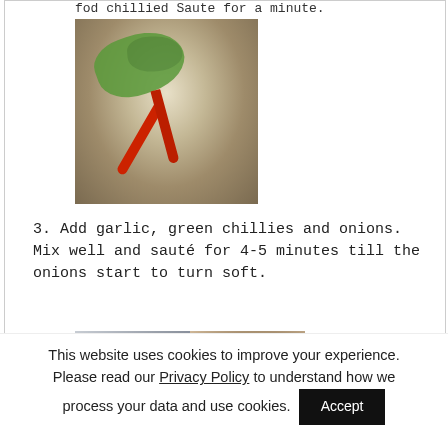fod chillied Saute for a minute.
[Figure (photo): A wok or pan with green chillies and red dried chillies being sautéed with onions and spices.]
3. Add garlic, green chillies and onions. Mix well and sauté for 4-5 minutes till the onions start to turn soft.
[Figure (photo): Two side-by-side food photos: left shows raw sliced onions (white/grey), right shows sautéed/cooked onion mixture (golden/brown).]
This website uses cookies to improve your experience. Please read our Privacy Policy to understand how we process your data and use cookies.
Accept